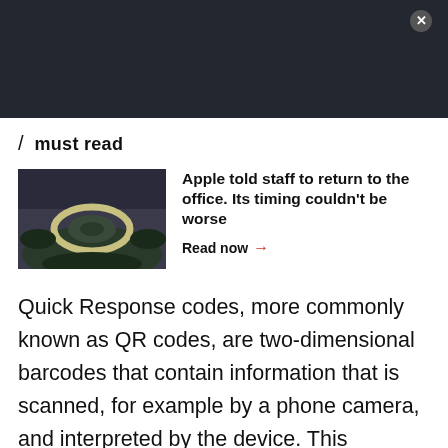[Figure (photo): Dark header bar with close button (X) in top right corner]
/ must read
[Figure (photo): Aerial photo of Apple Park, the circular Apple headquarters building surrounded by trees]
Apple told staff to return to the office. Its timing couldn't be worse
Read now →
Quick Response codes, more commonly known as QR codes, are two-dimensional barcodes that contain information that is scanned, for example by a phone camera, and interpreted by the device. This information can lead to a website, database, multimedia content, or file, and it can be used in